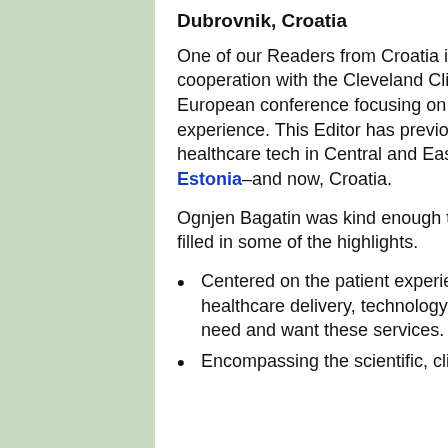Dubrovnik, Croatia
One of our Readers from Croatia is the CEO of the Bagatin Clinic in Zagreb. In cooperation with the Cleveland Clinic, they are organizing this first-ever pan-European conference focusing on health tech and how it will impact the patient experience. This Editor has previously noted the growth of medical and healthcare tech in Central and Eastern Europe in places like Hungary and Estonia–and now, Croatia.
Ognjen Bagatin was kind enough to write me before the holidays and has since filled in some of the highlights.
Centered on the patient experience, it will explore the relationships among healthcare delivery, technology, private enterprise and the human beings who need and want these services.
Encompassing the scientific, clinical, behavioral and social perspectives